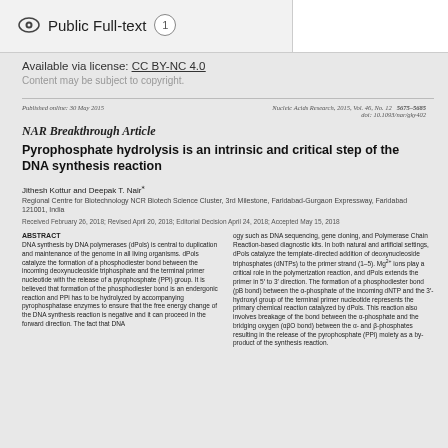Public Full-text 1
Available via license: CC BY-NC 4.0
Content may be subject to copyright.
Published online: 30 May 2015
Nucleic Acids Research, 2015, Vol. 46, No. 12  5675–5685
doi: 10.1093/nar/gky402
NAR Breakthrough Article
Pyrophosphate hydrolysis is an intrinsic and critical step of the DNA synthesis reaction
Jithesh Kottur and Deepak T. Nair
Regional Centre for Biotechnology NCR Biotech Science Cluster, 3rd Milestone, Faridabad-Gurgaon Expressway, Faridabad 121001, India
Received February 26, 2018; Revised April 20, 2018; Editorial Decision April 24, 2018; Accepted May 15, 2018
ABSTRACT
DNA synthesis by DNA polymerases (dPols) is central to duplication and maintenance of the genome in all living organisms. dPols catalyze the formation of a phosphodiester bond between the incoming deoxynucleoside triphosphate and the terminal primer nucleotide with the release of a pyrophosphate (PPi) group. It is believed that formation of the phosphodiester bond is an endergonic reaction and PPi has to be hydrolyzed by accompanying pyrophosphatase enzymes to ensure that the free energy change of the DNA synthesis reaction is negative and it can proceed in the forward direction. The fact that DNA
ogy such as DNA sequencing, gene cloning, and Polymerase Chain Reaction-based diagnostic kits. In both natural and artificial settings, dPols catalyze the template-directed addition of deoxynucleoside triphosphates (dNTPs) to the primer strand (1–5). Mg2+ ions play a critical role in the polymerization reaction, and dPols extends the primer in 5′ to 3′ direction. The formation of a phosphodiester bond (pB bond) between the α-phosphate of the incoming dNTP and the 3′-hydroxyl group of the terminal primer nucleotide represents the primary chemical reaction catalyzed by dPols. This reaction also involves breakage of the bond between the α-phosphate and the bridging oxygen (αβO bond) between the α- and β-phosphates resulting in the release of the pyrophosphate (PPi) moiety as a by-product of the synthesis reaction.